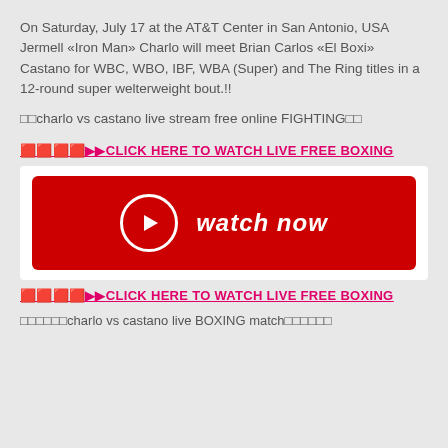On Saturday, July 17 at the AT&T Center in San Antonio, USA Jermell «Iron Man» Charlo will meet Brian Carlos «El Boxi» Castano for WBC, WBO, IBF, WBA (Super) and The Ring titles in a 12-round super welterweight bout.!!
□□charlo vs castano live stream free online FIGHTING□□
🟥🟥🟥🟥▶▶CLICK HERE TO WATCH LIVE FREE BOXING
[Figure (other): Red 'watch now' button with play icon circle on white background]
🟥🟥🟥🟥▶▶CLICK HERE TO WATCH LIVE FREE BOXING
□□□□□□charlo vs castano live BOXING match□□□□□□